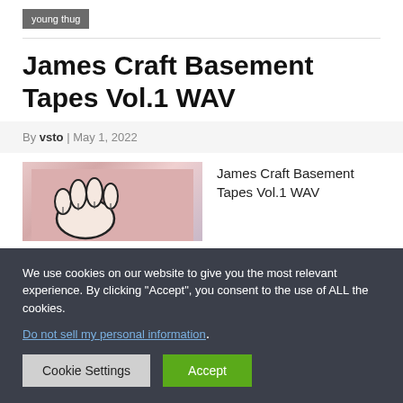young thug
James Craft Basement Tapes Vol.1 WAV
By vsto | May 1, 2022
[Figure (illustration): Illustration of a hand or cartoon character with dark outlines on a pink/peach background]
James Craft Basement Tapes Vol.1 WAV
We use cookies on our website to give you the most relevant experience. By clicking “Accept”, you consent to the use of ALL the cookies.
Do not sell my personal information.
Cookie Settings
Accept